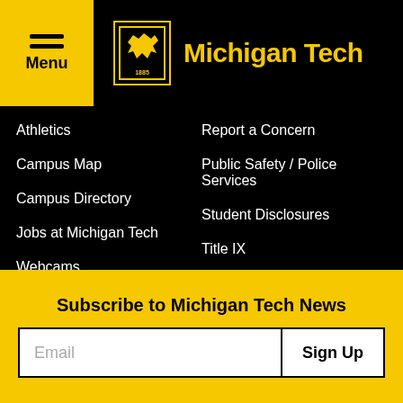Menu | Michigan Tech
Athletics
Report a Concern
Campus Map
Public Safety / Police Services
Campus Directory
Student Disclosures
Jobs at Michigan Tech
Title IX
Webcams
University Policies
Vice President for Research
Lakeshore Center, 3rd Floor
Subscribe to Michigan Tech News
Email
Sign Up